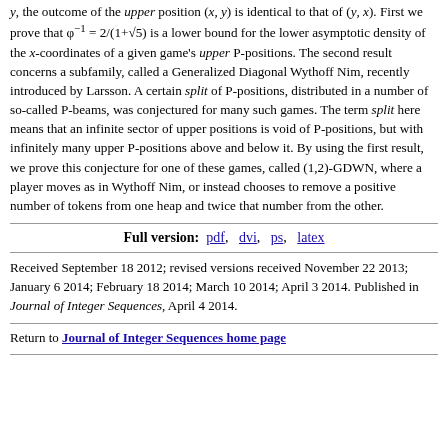y, the outcome of the upper position (x, y) is identical to that of (y, x). First we prove that φ⁻¹ = 2/(1+√5) is a lower bound for the lower asymptotic density of the x-coordinates of a given game's upper P-positions. The second result concerns a subfamily, called a Generalized Diagonal Wythoff Nim, recently introduced by Larsson. A certain split of P-positions, distributed in a number of so-called P-beams, was conjectured for many such games. The term split here means that an infinite sector of upper positions is void of P-positions, but with infinitely many upper P-positions above and below it. By using the first result, we prove this conjecture for one of these games, called (1,2)-GDWN, where a player moves as in Wythoff Nim, or instead chooses to remove a positive number of tokens from one heap and twice that number from the other.
Full version: pdf, dvi, ps, latex
Received September 18 2012; revised versions received November 22 2013; January 6 2014; February 18 2014; March 10 2014; April 3 2014. Published in Journal of Integer Sequences, April 4 2014.
Return to Journal of Integer Sequences home page